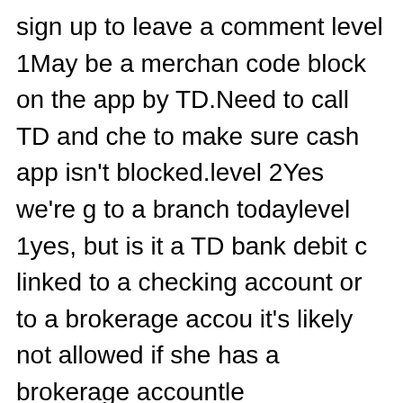sign up to leave a comment level 1May be a merchant code block on the app by TD.Need to call TD and check to make sure cash app isn't blocked.level 2Yes we're going to a branch todaylevel 1yes, but is it a TD bank debit card linked to a checking account or to a brokerage account? it's likely not allowed if she has a brokerage accountlevel 1strange.maybe her bank is blocking it as 'fraud'.is she getting any fraud alerts on her phone or email from TD?level 2She don't have online banking but no emails. We're just gonna go to a TD Bank today and have them look and see if it's on their end.level 1Did you ever figure out the problem? I just had the same thing happen to me trying to make an account on cashapp, but I have a TDA brokerage account. Atms always say invalid pin when I use any other banks besides theirs. It's so weirdlevel 1You should contact your Bank, or Cash App support if you're entering all the details correctly. Sometimes the service